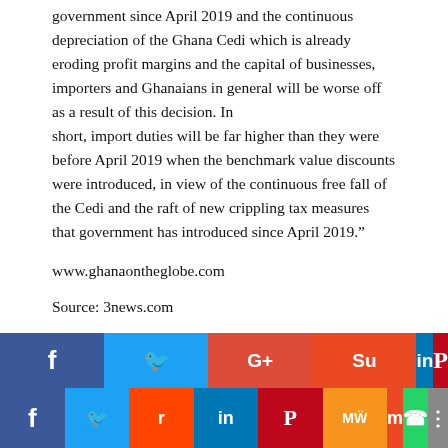government since April 2019 and the continuous depreciation of the Ghana Cedi which is already eroding profit margins and the capital of businesses, importers and Ghanaians in general will be worse off as a result of this decision. In short, import duties will be far higher than they were before April 2019 when the benchmark value discounts were introduced, in view of the continuous free fall of the Cedi and the raft of new crippling tax measures that government has introduced since April 2019.”
www.ghanaontheglobe.com
Source: 3news.com
Like this:
Loading...
[Figure (infographic): Social media share buttons row 1: Facebook (blue), Twitter (light blue), Google+ (red), StumbleUpon (orange), LinkedIn (blue), Pinterest (dark red), and an overflow button (purple).]
[Figure (infographic): Social media share buttons row 2: Facebook (blue), Twitter (light blue), Reddit (orange-red), LinkedIn (blue), Pinterest (dark red), MeWe (orange), Mix (orange-red), WhatsApp (green), More (grey).]